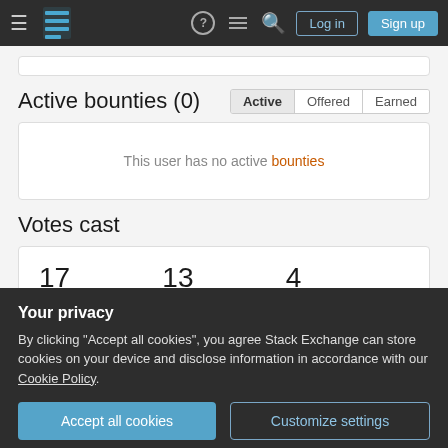Stack Exchange navigation bar with Log in and Sign up buttons
Active bounties (0)
This user has no active bounties
Votes cast
|  |  |  |
| --- | --- | --- |
| 17
upvotes | 13
question votes | 4
answer votes |
Your privacy
By clicking "Accept all cookies", you agree Stack Exchange can store cookies on your device and disclose information in accordance with our Cookie Policy.